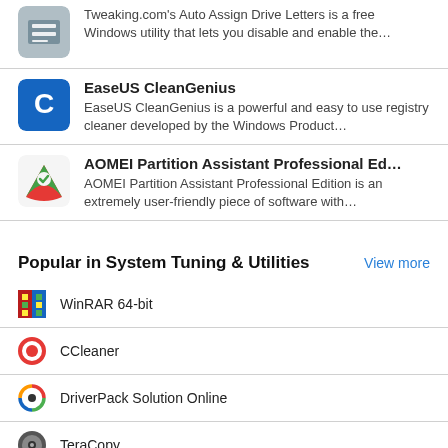Tweaking.com's Auto Assign Drive Letters is a free Windows utility that lets you disable and enable the…
EaseUS CleanGenius — EaseUS CleanGenius is a powerful and easy to use registry cleaner developed by the Windows Product…
AOMEI Partition Assistant Professional Ed… — AOMEI Partition Assistant Professional Edition is an extremely user-friendly piece of software with…
Popular in System Tuning & Utilities
View more
WinRAR 64-bit
CCleaner
DriverPack Solution Online
TeraCopy
WinRAR 32-bit